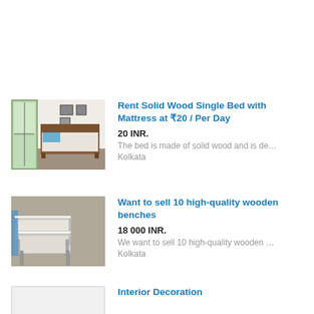[Figure (photo): Photo of a single bed with wooden frame and blue pillow, white sheets, in a room with large windows]
Rent Solid Wood Single Bed with Mattress at ₹20 / Per Day
20 INR.
The bed is made of solid wood and is de…
Kolkata
[Figure (photo): Photo of white-painted wooden benches with metal frames, stacked or arranged together]
Want to sell 10 high-quality wooden benches
18 000 INR.
We want to sell 10 high-quality wooden …
Kolkata
[Figure (photo): Partial photo of an interior decoration item (partially visible at bottom)]
Interior Decoration